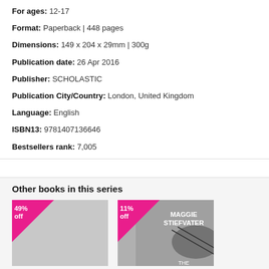For ages: 12-17
Format: Paperback | 448 pages
Dimensions: 149 x 204 x 29mm | 300g
Publication date: 26 Apr 2016
Publisher: SCHOLASTIC
Publication City/Country: London, United Kingdom
Language: English
ISBN13: 9781407136646
Bestsellers rank: 7,005
Other books in this series
[Figure (photo): Book thumbnail with 49% off badge]
[Figure (photo): Book cover for Maggie Stiefvater title with 11% off badge]